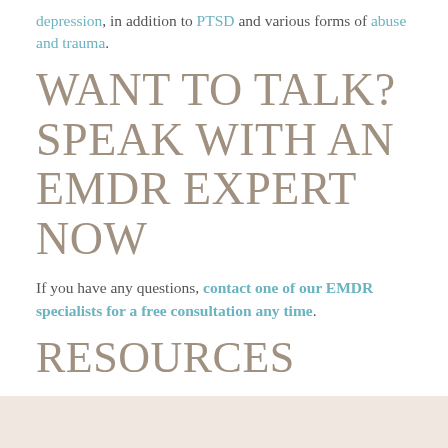depression, in addition to PTSD and various forms of abuse and trauma.
WANT TO TALK? SPEAK WITH AN EMDR EXPERT NOW
If you have any questions, contact one of our EMDR specialists for a free consultation any time.
RESOURCES
1. EMDR Institute
2. Francine Shapiro Library